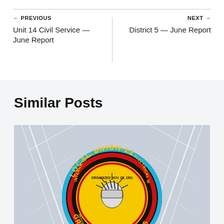← PREVIOUS
Unit 14 Civil Service — June Report
NEXT →
District 5 — June Report
Similar Posts
[Figure (logo): Local Union 11 International Brotherhood of Electrical Workers Greater Los Angeles circular badge/seal on a grey background with lattice tower structures]